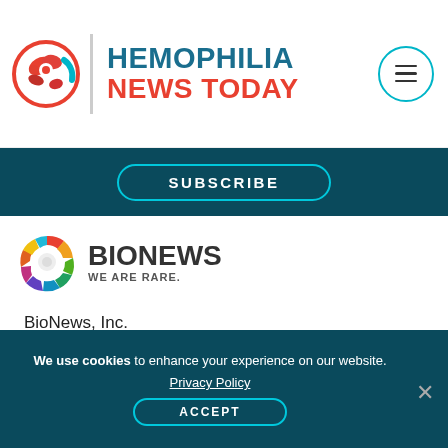[Figure (logo): Hemophilia News Today website header with red circular logo, vertical divider, and site title 'HEMOPHILIA NEWS TODAY' in blue and red text, plus a teal hamburger menu icon on the right]
[Figure (logo): BioNews 'WE ARE RARE.' logo with multicolored circular gear/wreath icon and bold dark text]
BioNews, Inc.
3 W Garden St
Suite 700
Pensacola, FL 32502
Website: bionews.com
We use cookies to enhance your experience on our website. Privacy Policy ACCEPT